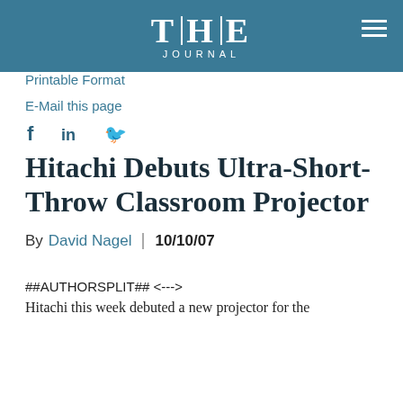THE JOURNAL
Printable Format
E-Mail this page
Hitachi Debuts Ultra-Short-Throw Classroom Projector
By David Nagel | 10/10/07
##AUTHORSPLIT## <--->
Hitachi this week debuted a new projector for the